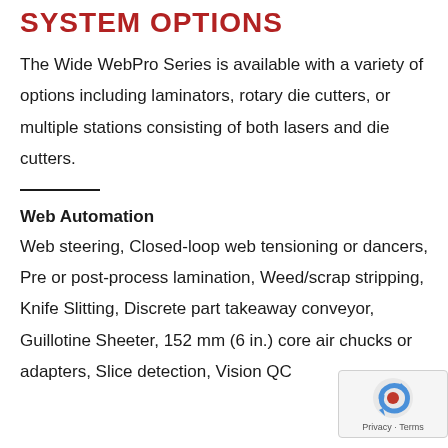SYSTEM OPTIONS
The Wide WebPro Series is available with a variety of options including laminators, rotary die cutters, or multiple stations consisting of both lasers and die cutters.
Web Automation
Web steering, Closed-loop web tensioning or dancers, Pre or post-process lamination, Weed/scrap stripping, Knife Slitting, Discrete part takeaway conveyor, Guillotine Sheeter, 152 mm (6 in.) core air chucks or adapters, Slice detection, Vision QC